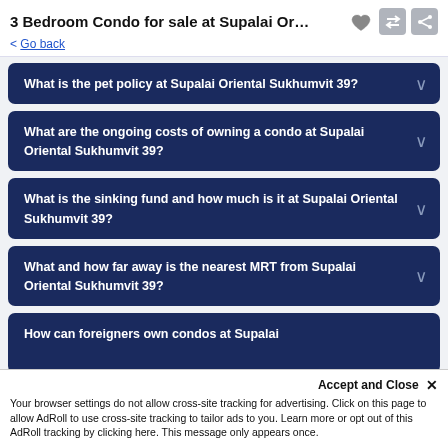3 Bedroom Condo for sale at Supalai Ori... < Go back
What is the pet policy at Supalai Oriental Sukhumvit 39?
What are the ongoing costs of owning a condo at Supalai Oriental Sukhumvit 39?
What is the sinking fund and how much is it at Supalai Oriental Sukhumvit 39?
What and how far away is the nearest MRT from Supalai Oriental Sukhumvit 39?
How can foreigners own condos at Supalai
Accept and Close ✕
Your browser settings do not allow cross-site tracking for advertising. Click on this page to allow AdRoll to use cross-site tracking to tailor ads to you. Learn more or opt out of this AdRoll tracking by clicking here. This message only appears once.